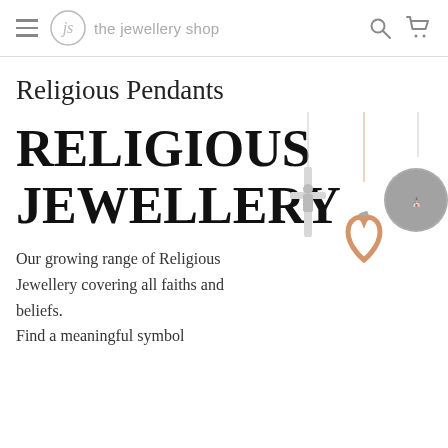the jewellery shop
Religious Pendants
[Figure (photo): Three religious pendants on chains: a silver crucifix cross, a rose gold open heart with small bead, and a round antique coin medallion pendant on a silver chain.]
RELIGIOUS JEWELLERY
Our growing range of Religious Jewellery covering all faiths and beliefs. Find a meaningful symbol